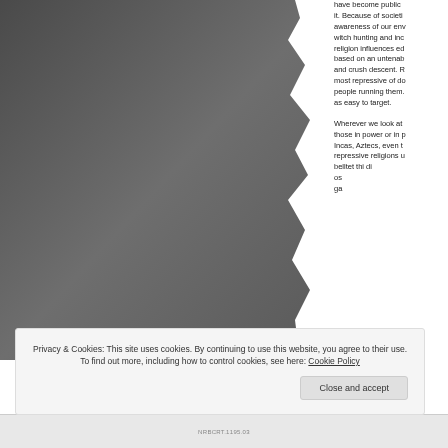[Figure (photo): A dark grey/charcoal colored image occupying the left portion of the page, appearing to show a torn or rough edge on the right side of the image area.]
have become public it. Because of societi awareness of our env witch hunting and inc religion influences ed based on an untenab and crush descent. R most repressive of do people running them. as easy to target. Wherever we look at those in power or in p Incas, Aztecs, even t repressive religions u belltet thi di os ga
Privacy & Cookies: This site uses cookies. By continuing to use this website, you agree to their use.
To find out more, including how to control cookies, see here: Cookie Policy
Close and accept
NRBCRT.1195.03